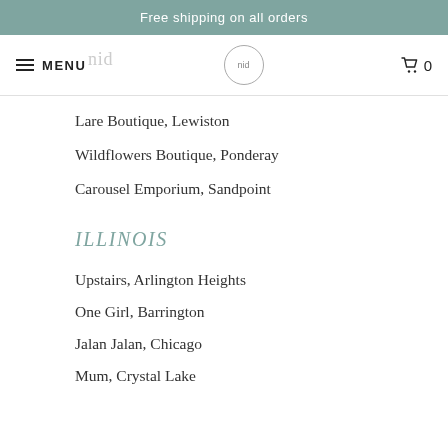Free shipping on all orders
Lare Boutique, Lewiston
Wildflowers Boutique, Ponderay
Carousel Emporium, Sandpoint
ILLINOIS
Upstairs, Arlington Heights
One Girl, Barrington
Jalan Jalan, Chicago
Mum, Crystal Lake